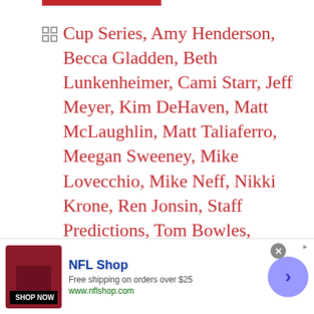Cup Series, Amy Henderson, Becca Gladden, Beth Lunkenheimer, Cami Starr, Jeff Meyer, Kim DeHaven, Matt McLaughlin, Matt Taliaferro, Meegan Sweeney, Mike Lovecchio, Mike Neff, Nikki Krone, Ren Jonsin, Staff Predictions, Tom Bowles, Tommy Thompson, Toni Montgomery, Vito Pugliese
Carl Edwards, Casey Mears, Dale Earnhardt Jr., Denny Hamlin, Greg Biffle, Jamie McMurray, Jeff Burton, Jeff Gordon,
[Figure (infographic): NFL Shop advertisement banner with red jersey image, shop now button, NFL Shop title in blue, free shipping offer text, www.nflshop.com URL, close button, and blue arrow circle]